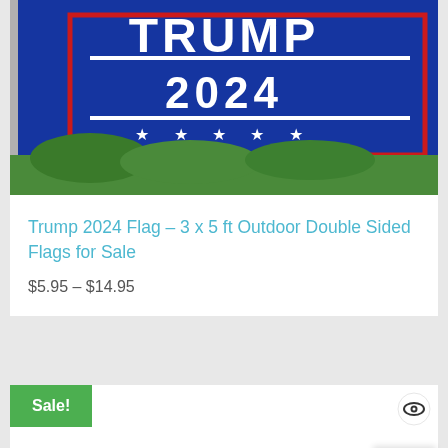[Figure (photo): Trump 2024 campaign flag, blue background with red border, white text showing TRUMP 2024 with stars, flying outdoors against green trees and blue sky]
Trump 2024 Flag – 3 x 5 ft Outdoor Double Sided Flags for Sale
$5.95 – $14.95
Sale!
[Figure (photo): Partially visible flag photo at bottom of page, showing blue sky, trees, and red flag element, with sale badge overlay]